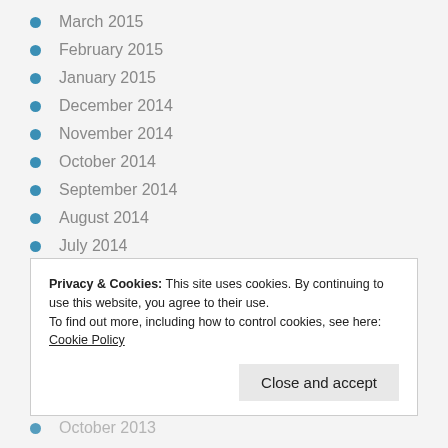March 2015
February 2015
January 2015
December 2014
November 2014
October 2014
September 2014
August 2014
July 2014
June 2014
May 2014
April 2014
March 2014
Privacy & Cookies: This site uses cookies. By continuing to use this website, you agree to their use.
To find out more, including how to control cookies, see here: Cookie Policy
Close and accept
October 2013